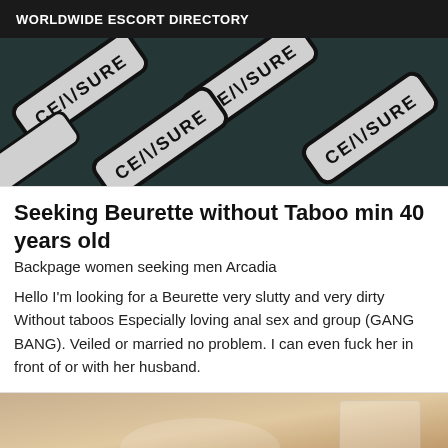WORLDWIDE ESCORT DIRECTORY
[Figure (photo): Close-up photo of multiple overlapping signs with text 'CENSURE' displayed upside down and at angles on a dark teal background]
Seeking Beurette without Taboo min 40 years old
Backpage women seeking men Arcadia
Hello I'm looking for a Beurette very slutty and very dirty Without taboos Especially loving anal sex and group (GANG BANG). Veiled or married no problem. I can even fuck her in front of or with her husband.
[Figure (photo): Partial photo showing a bedroom scene with warm lighting, pillows visible at bottom of frame]